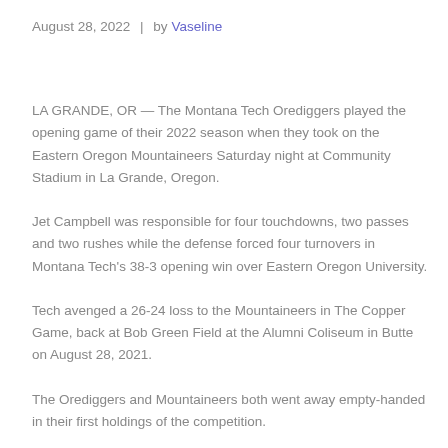August 28, 2022 | by Vaseline
LA GRANDE, OR — The Montana Tech Orediggers played the opening game of their 2022 season when they took on the Eastern Oregon Mountaineers Saturday night at Community Stadium in La Grande, Oregon.
Jet Campbell was responsible for four touchdowns, two passes and two rushes while the defense forced four turnovers in Montana Tech's 38-3 opening win over Eastern Oregon University.
Tech avenged a 26-24 loss to the Mountaineers in The Copper Game, back at Bob Green Field at the Alumni Coliseum in Butte on August 28, 2021.
The Orediggers and Mountaineers both went away empty-handed in their first holdings of the competition.
On the Orediggers' second offensive possession, Jet Campbell's 28-yard pass to Kyle Tomperson with a second down and eight plays to put Tech at…